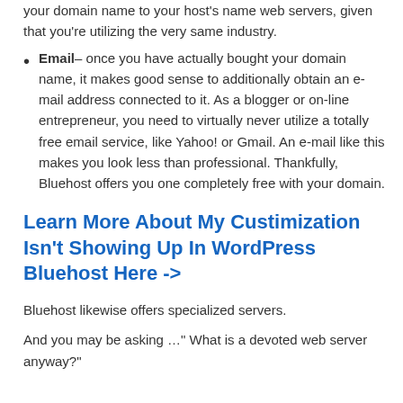your domain name to your host's name web servers, given that you're utilizing the very same industry.
Email– once you have actually bought your domain name, it makes good sense to additionally obtain an e-mail address connected to it. As a blogger or on-line entrepreneur, you need to virtually never utilize a totally free email service, like Yahoo! or Gmail. An e-mail like this makes you look less than professional. Thankfully, Bluehost offers you one completely free with your domain.
Learn More About My Custimization Isn't Showing Up In WordPress Bluehost Here ->
Bluehost likewise offers specialized servers.
And you may be asking …" What is a devoted web server anyway?"